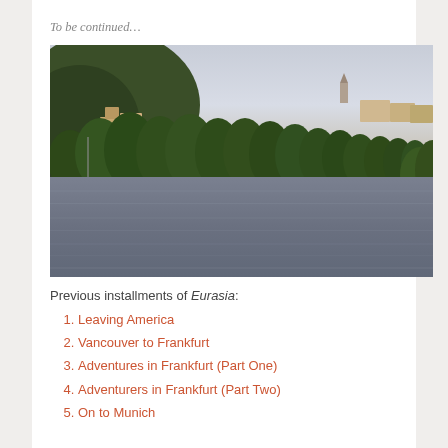To be continued…
[Figure (photo): A river scene with lush green trees lining both banks, European-style buildings and a church steeple visible on the left hillside, under an overcast sky. Water fills the lower half of the photo.]
Previous installments of Eurasia:
Leaving America
Vancouver to Frankfurt
Adventures in Frankfurt (Part One)
Adventurers in Frankfurt (Part Two)
On to Munich